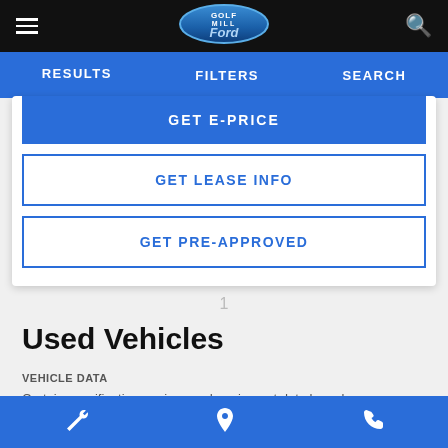Golf Mill Ford — Navigation bar with hamburger menu, logo, and search icon
RESULTS   FILTERS   SEARCH
GET E-PRICE
GET LEASE INFO
GET PRE-APPROVED
1
Used Vehicles
VEHICLE DATA
Certain specifications, prices and equipment data have been
Wrench icon | Location pin icon | Phone icon